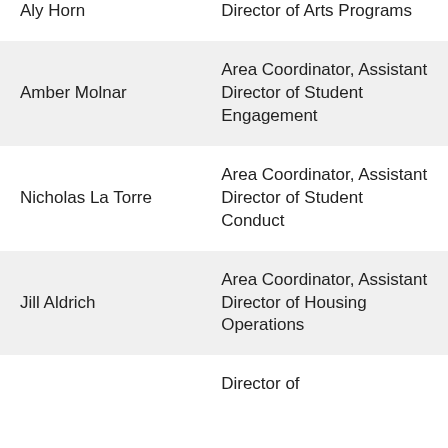| Name | Title |
| --- | --- |
| Aly Horn | Director of Arts Programs |
| Amber Molnar | Area Coordinator, Assistant Director of Student Engagement |
| Nicholas La Torre | Area Coordinator, Assistant Director of Student Conduct |
| Jill Aldrich | Area Coordinator, Assistant Director of Housing Operations |
|  | Director of… |